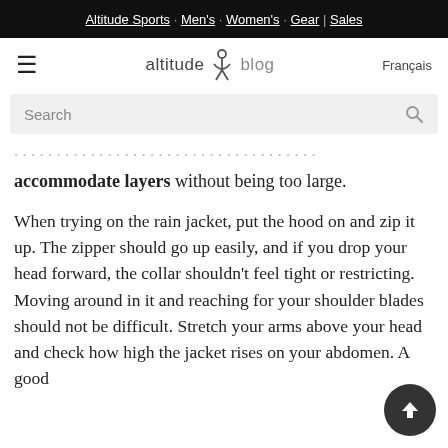Altitude Sports · Men's · Women's · Gear | Sales
[Figure (logo): Altitude blog logo with hamburger menu and Français link]
[Figure (screenshot): Search bar with placeholder text 'Search' and magnifying glass icon]
...make sure you find yourself the correct size to accommodate layers without being too large.
When trying on the rain jacket, put the hood on and zip it up. The zipper should go up easily, and if you drop your head forward, the collar shouldn't feel tight or restricting. Moving around in it and reaching for your shoulder blades should not be difficult. Stretch your arms above your head and check how high the jacket rises on your abdomen. A good rain jacket with an athletic fit should not ride...